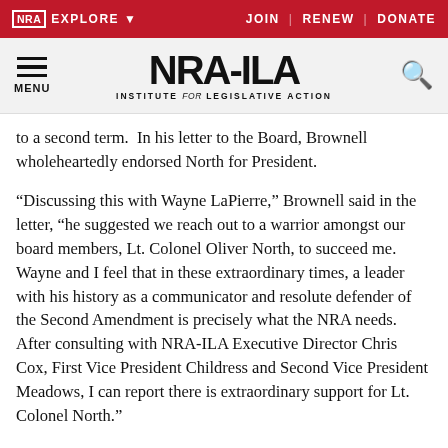NRA EXPLORE ▼   JOIN | RENEW | DONATE
[Figure (logo): NRA-ILA logo with tagline 'INSTITUTE for LEGISLATIVE ACTION', hamburger menu and search icon]
to a second term.  In his letter to the Board, Brownell wholeheartedly endorsed North for President.
“Discussing this with Wayne LaPierre,” Brownell said in the letter, “he suggested we reach out to a warrior amongst our board members, Lt. Colonel Oliver North, to succeed me.  Wayne and I feel that in these extraordinary times, a leader with his history as a communicator and resolute defender of the Second Amendment is precisely what the NRA needs.  After consulting with NRA-ILA Executive Director Chris Cox, First Vice President Childress and Second Vice President Meadows, I can report there is extraordinary support for Lt. Colonel North.”
“Pete has served the NRA with great courage and distinction,”